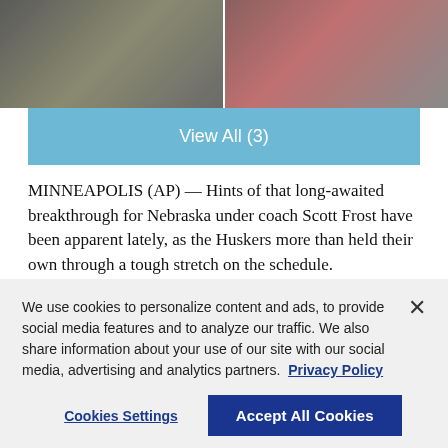[Figure (photo): Two sports photos side by side: left shows football player #6 in dark uniform, right shows football players #33 in red uniforms on field]
View All (3)
MINNEAPOLIS (AP) — Hints of that long-awaited breakthrough for Nebraska under coach Scott Frost have been apparent lately, as the Huskers more than held their own through a tough stretch on the schedule.
We use cookies to personalize content and ads, to provide social media features and to analyze our traffic. We also share information about your use of our site with our social media, advertising and analytics partners. Privacy Policy
Cookies Settings
Accept All Cookies